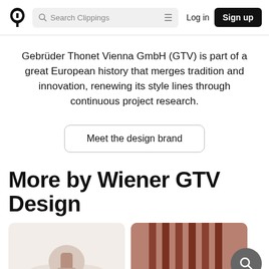Search Clippings | Log in | Sign up
Gebrüder Thonet Vienna GmbH (GTV) is part of a great European history that merges tradition and innovation, renewing its style lines through continuous project research.
Meet the design brand
More by Wiener GTV Design
[Figure (photo): Two product images partially visible at the bottom — left shows a light-colored rounded object on a white base, right shows dark reddish-brown vertical panels or slats.]